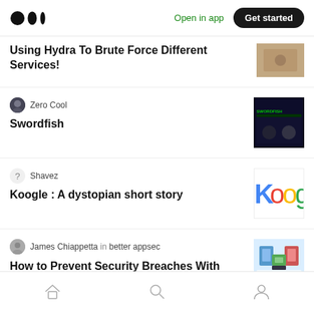Medium header with logo, Open in app, Get started
Using Hydra To Brute Force Different Services!
Zero Cool
Swordfish
Shavez
Koogle : A dystopian short story
James Chiappetta in better appsec
How to Prevent Security Breaches With AppSec Pentesting
Home, Search, Profile navigation